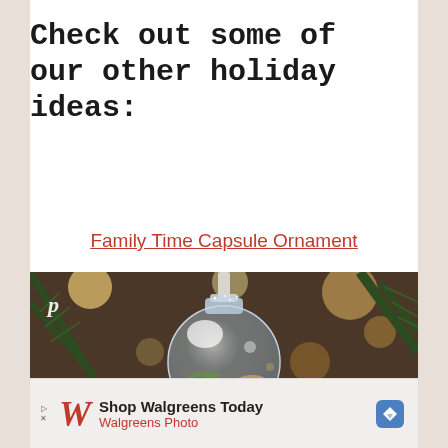Check out some of our other holiday ideas:
Family Time Capsule Ornament
[Figure (photo): Close-up photo of a clear glass Christmas ornament hanging on a pine tree, filled with small paper scrolls and mementos, with bokeh lights in the background. A Pinterest logo appears in the upper left.]
[Figure (other): Walgreens advertisement banner: 'Shop Walgreens Today / Walgreens Photo' with Walgreens cursive W logo and blue diamond arrow icon]